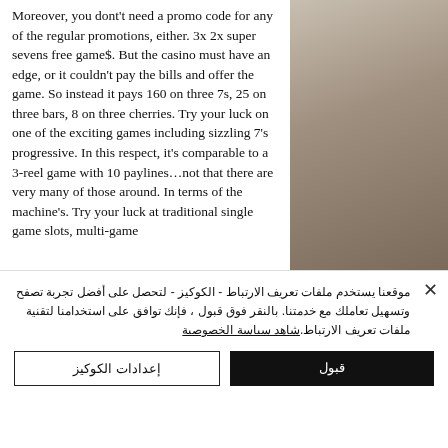Moreover, you dont't need a promo code for any of the regular promotions, either. 3x 2x super sevens free game$. But the casino must have an edge, or it couldn't pay the bills and offer the game. So instead it pays 160 on three 7s, 25 on three bars, 8 on three cherries. Try your luck on one of the exciting games including sizzling 7's progressive. In this respect, it's comparable to a 3-reel game with 10 paylines…not that there are very many of those around. In terms of the machine's. Try your luck at traditional single game slots, multi-game
[Figure (photo): Partial photo of a building exterior with metallic architectural elements visible on the right side of the page]
موقعنا يستخدم ملفات تعريف الارتباط - الكوكيز - لتحصل على أفضل تجربة تصفح وتسهيل تعاملك مع خدمتنا. بالنقر فوق قبول ، فإنك توافق على استخدامنا لتقنية ملفات تعريف الارتباط. شاهد سياسة الخصوصية
إعدادات الكوكيز
قبول